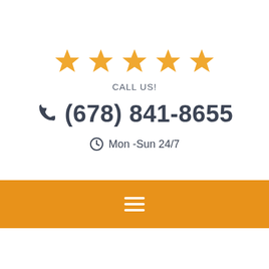[Figure (infographic): Five orange star icons in a row representing a 5-star rating]
CALL US!
(678) 841-8655
Mon -Sun 24/7
[Figure (infographic): Orange navigation bar with white hamburger menu icon (three horizontal lines)]